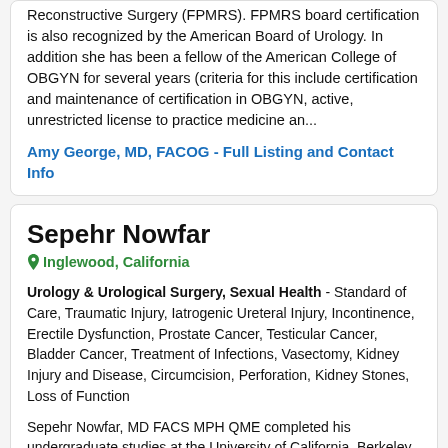Reconstructive Surgery (FPMRS). FPMRS board certification is also recognized by the American Board of Urology. In addition she has been a fellow of the American College of OBGYN for several years (criteria for this include certification and maintenance of certification in OBGYN, active, unrestricted license to practice medicine an...
Amy George, MD, FACOG - Full Listing and Contact Info
Sepehr Nowfar
Inglewood, California
Urology & Urological Surgery, Sexual Health - Standard of Care, Traumatic Injury, Iatrogenic Ureteral Injury, Incontinence, Erectile Dysfunction, Prostate Cancer, Testicular Cancer, Bladder Cancer, Treatment of Infections, Vasectomy, Kidney Injury and Disease, Circumcision, Perforation, Kidney Stones, Loss of Function
Sepehr Nowfar, MD FACS MPH QME completed his undergraduate studies at the University of California, Berkeley and graduated with honors in Molecular and...